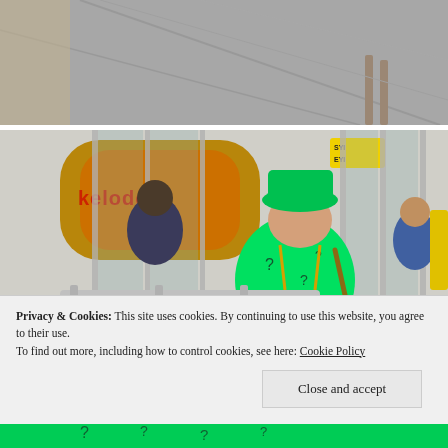[Figure (photo): Top portion of a street scene photo, showing pavement and partial view of a storefront, cropped at the top of the page.]
[Figure (photo): A person dressed in a green Riddler costume (green suit with question marks, green bowler hat) bending forward near the entrance of a Nickelodeon store in Times Square. Metal barricades and other people visible in the background.]
Privacy & Cookies: This site uses cookies. By continuing to use this website, you agree to their use.
To find out more, including how to control cookies, see here: Cookie Policy
Close and accept
[Figure (photo): Bottom sliver of a photo showing the lower portion of the green Riddler costume.]